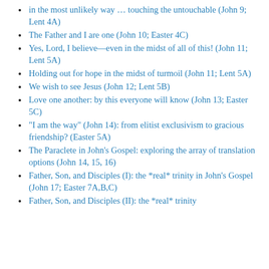in the most unlikely way … touching the untouchable (John 9; Lent 4A)
The Father and I are one (John 10; Easter 4C)
Yes, Lord, I believe—even in the midst of all of this! (John 11; Lent 5A)
Holding out for hope in the midst of turmoil (John 11; Lent 5A)
We wish to see Jesus (John 12; Lent 5B)
Love one another: by this everyone will know (John 13; Easter 5C)
“I am the way” (John 14): from elitist exclusivism to gracious friendship? (Easter 5A)
The Paraclete in John’s Gospel: exploring the array of translation options (John 14, 15, 16)
Father, Son, and Disciples (I): the *real* trinity in John’s Gospel (John 17; Easter 7A,B,C)
Father, Son, and Disciples (II): the *real* trinity